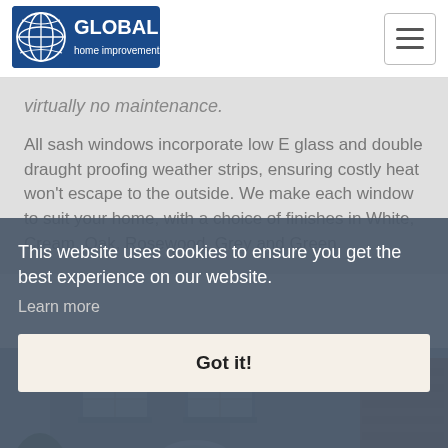[Figure (logo): Global Home Improvements logo — blue globe icon with white grid lines, text 'GLOBAL' in bold white on blue background, 'home improvements' in white below]
virtually no maintenance.
All sash windows incorporate low E glass and double draught proofing weather strips, ensuring costly heat won't escape to the outside. We make each window to suit your home, with a choice of finishes in White, Cream, Oak, Rosewood, Grey and Green.
[Figure (photo): Photo of a house exterior showing sash windows on a grey rendered facade, with an arched window visible and brick building to the right, trees in foreground]
This website uses cookies to ensure you get the best experience on our website.
Learn more
Got it!